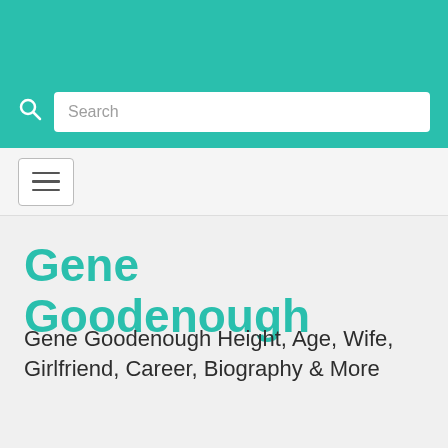Search
Gene Goodenough
Gene Goodenough Height, Age, Wife, Girlfriend, Career, Biography & More